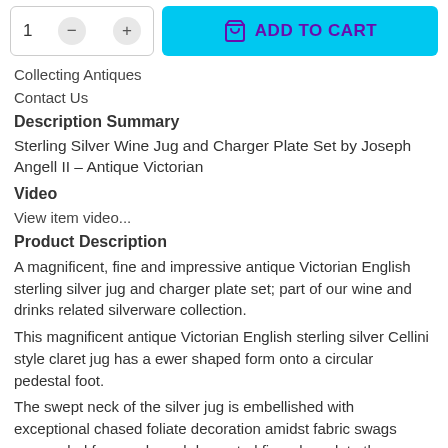[Figure (screenshot): Add to cart UI bar with quantity selector showing '1' with minus and plus buttons, and a cyan 'ADD TO CART' button with shopping bag icon]
Collecting Antiques
Contact Us
Description Summary
Sterling Silver Wine Jug and Charger Plate Set by Joseph Angell II – Antique Victorian
Video
View item video...
Product Description
A magnificent, fine and impressive antique Victorian English sterling silver jug and charger plate set; part of our wine and drinks related silverware collection.
This magnificent antique Victorian English sterling silver Cellini style claret jug has a ewer shaped form onto a circular pedestal foot.
The swept neck of the silver jug is embellished with exceptional chased foliate decoration amidst fabric swags suspended from a chased decorated figural mask to the posterior surface, all on a matte background; there is an exceptional and large